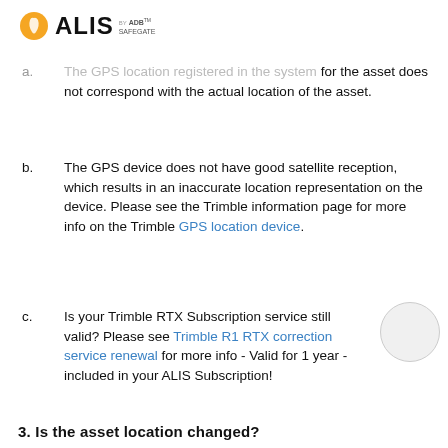ALIS by ADB SAFEGATE
a. The GPS location registered in the system for the asset does not correspond with the actual location of the asset.
b. The GPS device does not have good satellite reception, which results in an inaccurate location representation on the device. Please see the Trimble information page for more info on the Trimble GPS location device.
c. Is your Trimble RTX Subscription service still valid? Please see Trimble R1 RTX correction service renewal for more info - Valid for 1 year - included in your ALIS Subscription!
3. Is the asset location changed?